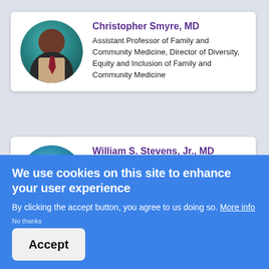[Figure (photo): Circular portrait photo of Christopher Smyre, MD]
Christopher Smyre, MD
Assistant Professor of Family and Community Medicine, Director of Diversity, Equity and Inclusion of Family and Community Medicine
[Figure (photo): Circular portrait photo of William S. Stevens, Jr., MD]
William S. Stevens, Jr., MD
Associate Professor, Department of Surgery
We use cookies on this site to enhance your user experience
By clicking the accept button, you agree to us doing so. More info
No thanks